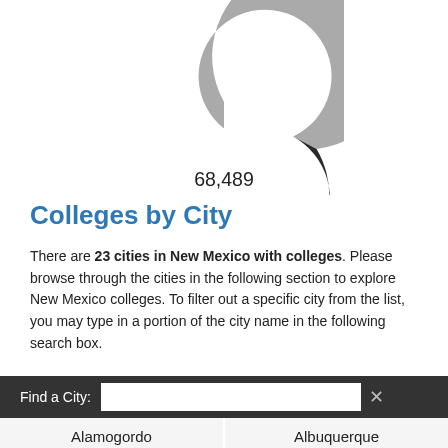[Figure (donut-chart): Partial donut chart (cropped at top). Center label shows 68,489. Two segments visible: light gray (larger) and dark gray/black (smaller).]
Colleges by City
There are 23 cities in New Mexico with colleges. Please browse through the cities in the following section to explore New Mexico colleges. To filter out a specific city from the list, you may type in a portion of the city name in the following search box.
| Alamogordo | Albuquerque |
| Carlsbad | Clovis |
| Crownpoint | Espanola |
| Farmington | Gallup |
| Grants | Hobbs |